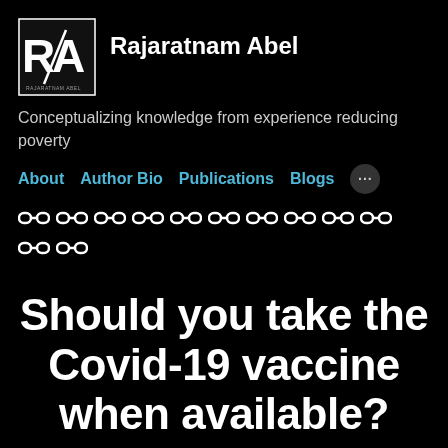[Figure (logo): Rajaratnam Abel logo with stylized RA letters and a pencil, black background with white text]
Rajaratnam Abel
Conceptualizing knowledge from experience reducing poverty
About   Author Bio   Publications   Blogs   ...
[Figure (other): 12 chain link icons arranged in two rows representing social media or external links]
Should you take the Covid-19 vaccine when available?